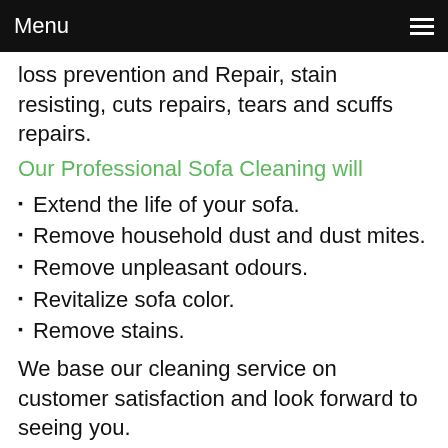Menu
loss prevention and Repair, stain resisting, cuts repairs, tears and scuffs repairs.
Our Professional Sofa Cleaning will
Extend the life of your sofa.
Remove household dust and dust mites.
Remove unpleasant odours.
Revitalize sofa color.
Remove stains.
We base our cleaning service on customer satisfaction and look forward to seeing you.
Green Carpets powerful sofa cleaning